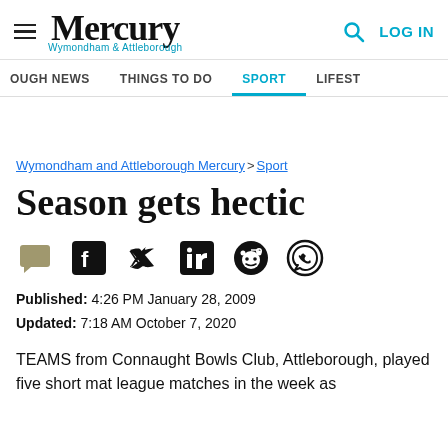Mercury Wymondham & Attleborough — LOG IN
OUGH NEWS   THINGS TO DO   SPORT   LIFEST
Wymondham and Attleborough Mercury > Sport
Season gets hectic
[Figure (infographic): Social share icons: comment, Facebook, Twitter, LinkedIn, Reddit, WhatsApp]
Published: 4:26 PM January 28, 2009
Updated: 7:18 AM October 7, 2020
TEAMS from Connaught Bowls Club, Attleborough, played five short mat league matches in the week as